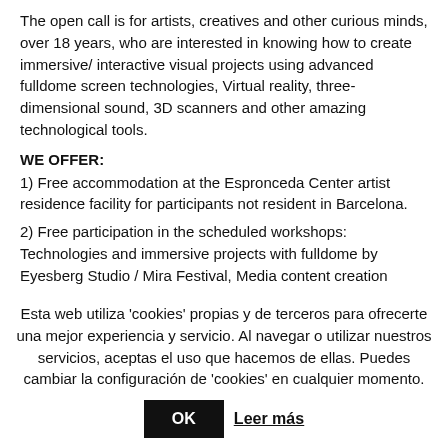The open call is for artists, creatives and other curious minds, over 18 years, who are interested in knowing how to create immersive/ interactive visual projects using advanced fulldome screen technologies, Virtual reality, three-dimensional sound, 3D scanners and other amazing technological tools.
WE OFFER:
1) Free accommodation at the Espronceda Center artist residence facility for participants not resident in Barcelona.
2) Free participation in the scheduled workshops: Technologies and immersive projects with fulldome by Eyesberg Studio / Mira Festival, Media content creation byGarage Stories, interactive art installations by Kimatica Studio
Esta web utiliza 'cookies' propias y de terceros para ofrecerte una mejor experiencia y servicio. Al navegar o utilizar nuestros servicios, aceptas el uso que hacemos de ellas. Puedes cambiar la configuración de 'cookies' en cualquier momento.